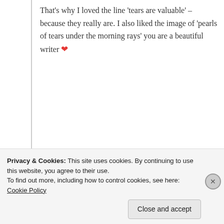That's why I loved the line 'tears are valuable' – because they really are. I also liked the image of 'pearls of tears under the morning rays' you are a beautiful writer ❤️
★ Liked by 1 person
Log in to Reply
Suma Reddy
Privacy & Cookies: This site uses cookies. By continuing to use this website, you agree to their use. To find out more, including how to control cookies, see here: Cookie Policy
Close and accept